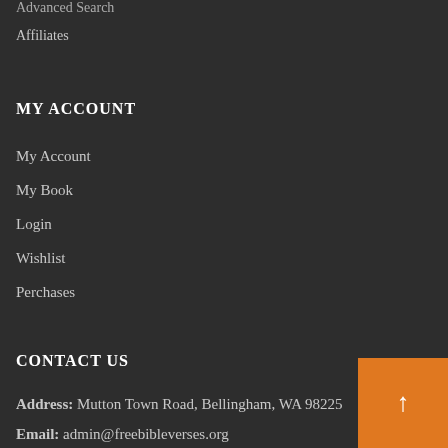Advanced Search
Affiliates
MY ACCOUNT
My Account
My Book
Login
Wishlist
Perchases
CONTACT US
Address: Mutton Town Road, Bellingham, WA 98225
Email: admin@freebibleverses.org